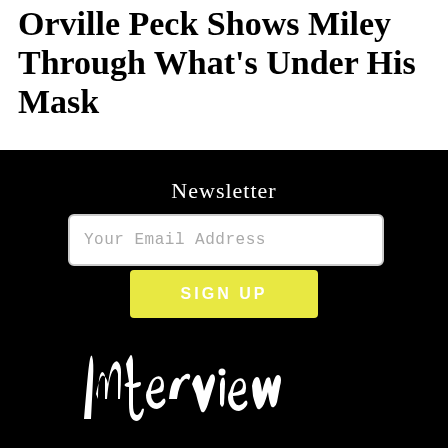Orville Peck Shows Miley Through What's Under His Mask
Newsletter
Your Email Address
SIGN UP
[Figure (logo): Interview magazine logo in white handwritten brush script on black background]